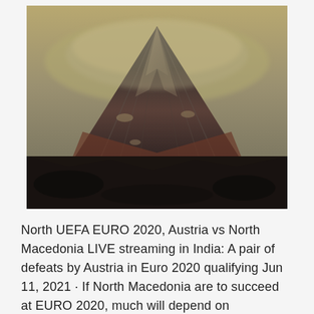[Figure (photo): A dark, moody photograph of a large volcanic mountain peak partially obscured by clouds and fog. The mountain has steep ridged sides with patches of snow or light rock. The foreground shows dark rocky terrain. The sky is overcast with a yellowish-grey hue.]
North UEFA EURO 2020, Austria vs North Macedonia LIVE streaming in India: A pair of defeats by Austria in Euro 2020 qualifying Jun 11, 2021 · If North Macedonia are to succeed at EURO 2020, much will depend on